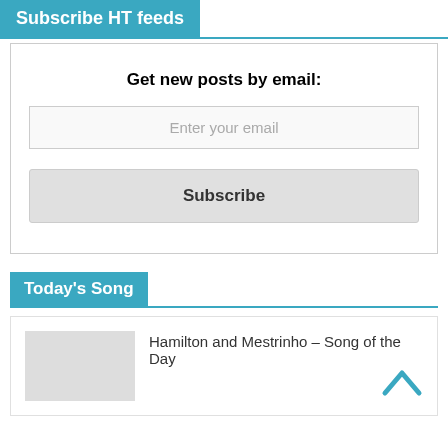Subscribe HT feeds
Get new posts by email:
Enter your email
Subscribe
Today's Song
Hamilton and Mestrinho – Song of the Day